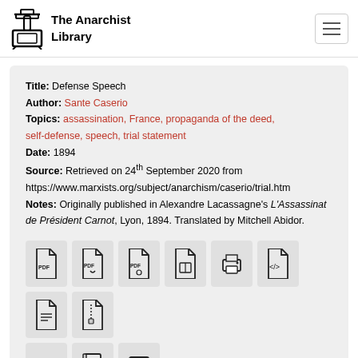The Anarchist Library
Title: Defense Speech
Author: Sante Caserio
Topics: assassination, France, propaganda of the deed, self-defense, speech, trial statement
Date: 1894
Source: Retrieved on 24th September 2020 from https://www.marxists.org/subject/anarchism/caserio/trial.htm
Notes: Originally published in Alexandre Lacassagne's L'Assassinat de Président Carnot, Lyon, 1894. Translated by Mitchell Abidor.
[Figure (infographic): Row of document format icons: PDF, PDF variant, PDF variant, ebook, print, code/XML, plain text, zip archive, followed by a second row with: undo/history, notebook/book, table/list icons.]